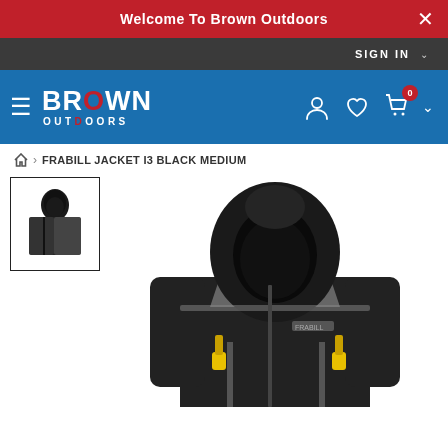Welcome To Brown Outdoors
SIGN IN
[Figure (logo): Brown Outdoors logo in white text on blue navigation bar]
FRABILL JACKET I3 BLACK MEDIUM
[Figure (photo): Thumbnail of Frabill I3 black jacket]
[Figure (photo): Main product photo of Frabill I3 black jacket with hood up, gray and black colorway with yellow zipper pulls]